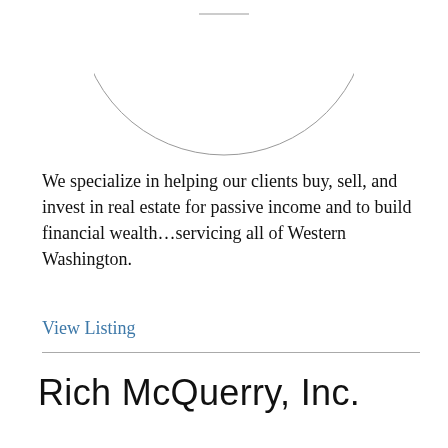[Figure (logo): Circular logo with text 'HOME GROUP' arranged in an arc along the top of a circle, with a short horizontal line at the top center inside the circle.]
We specialize in helping our clients buy, sell, and invest in real estate for passive income and to build financial wealth…servicing all of Western Washington.
View Listing
Rich McQuerry, Inc.